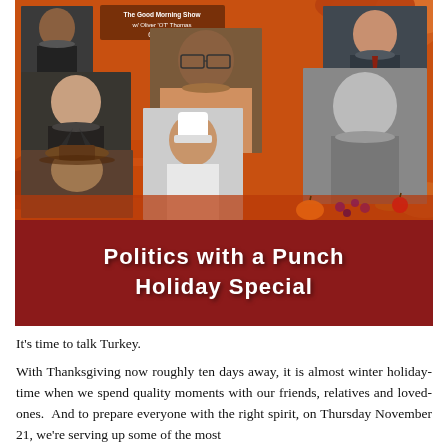[Figure (photo): Promotional poster collage for 'Politics with a Punch Holiday Special' radio show. Features a collage of several people's headshots/portraits against an autumn-themed orange and red background. Includes a woman with glasses in the center, men in suits, a man in a cowboy hat, and a chef. The bottom portion has a dark red banner with white stylized text reading 'Politics with a Punch Holiday Special'.]
It's time to talk Turkey.
With Thanksgiving now roughly ten days away, it is almost winter holiday-time when we spend quality moments with our friends, relatives and loved-ones.  And to prepare everyone with the right spirit, on Thursday November 21, we're serving up some of the most